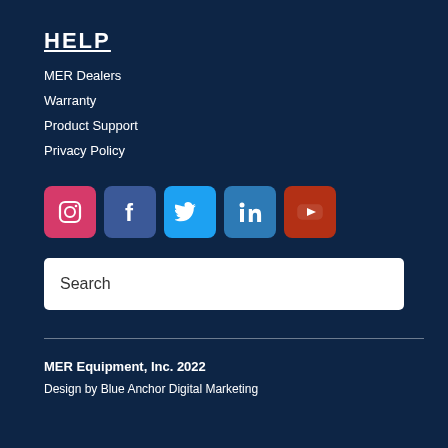HELP
MER Dealers
Warranty
Product Support
Privacy Policy
[Figure (infographic): Social media icon buttons for Instagram (pink/red), Facebook (dark blue), Twitter (light blue), LinkedIn (medium blue), YouTube (dark red/orange)]
[Figure (screenshot): Search input field with placeholder text 'Search']
MER Equipment, Inc. 2022
Design by Blue Anchor Digital Marketing